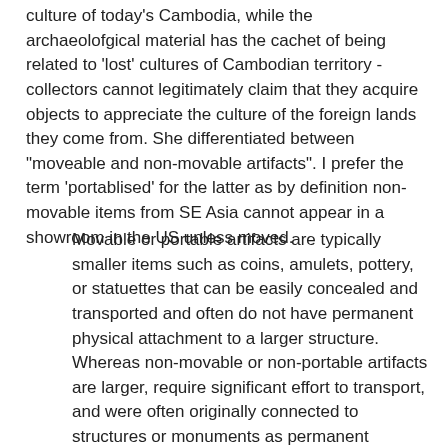culture of today's Cambodia, while the archaeolofgical material has the cachet of being related to 'lost' cultures of Cambodian territory - collectors cannot legitimately claim that they acquire objects to appreciate the culture of the foreign lands they come from. She differentiated between "moveable and non-movable artifacts". I prefer the term 'portablised' for the latter as by definition non-movable items from SE Asia cannot appear in a showroom in the US unless moved.
Movable or portable artifacts are typically smaller items such as coins, amulets, pottery, or statuettes that can be easily concealed and transported and often do not have permanent physical attachment to a larger structure. Whereas non-movable or non-portable artifacts are larger, require significant effort to transport, and were often originally connected to structures or monuments as permanent features or attachments such as statues, reliefs, and friezes. Due to the fact that non-movable artifacts are often detached from their place of origin in situ, they tend to show clear signs of forced removal –